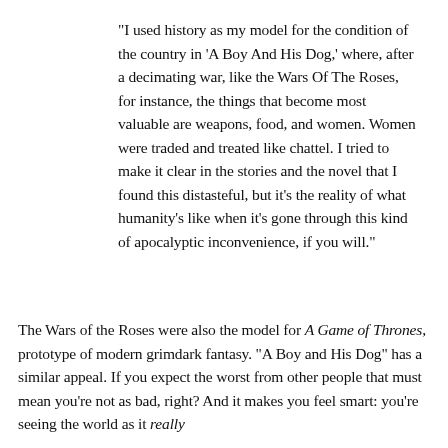“I used history as my model for the condition of the country in ‘A Boy And His Dog,’ where, after a decimating war, like the Wars Of The Roses, for instance, the things that become most valuable are weapons, food, and women. Women were traded and treated like chattel. I tried to make it clear in the stories and the novel that I found this distasteful, but it’s the reality of what humanity’s like when it’s gone through this kind of apocalyptic inconvenience, if you will.”
The Wars of the Roses were also the model for A Game of Thrones, prototype of modern grimdark fantasy. “A Boy and His Dog” has a similar appeal. If you expect the worst from other people that must mean you’re not as bad, right? And it makes you feel smart: you’re seeing the world as it really